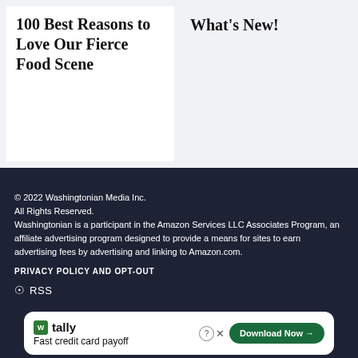100 Best Reasons to Love Our Fierce Food Scene
What's New!
© 2022 Washingtonian Media Inc. All Rights Reserved.
Washingtonian is a participant in the Amazon Services LLC Associates Program, an affiliate advertising program designed to provide a means for sites to earn advertising fees by advertising and linking to Amazon.com.
PRIVACY POLICY AND OPT-OUT
RSS
Get the best news, delivered